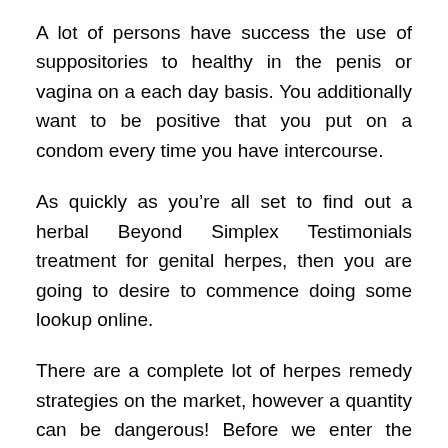A lot of persons have success the use of suppositories to healthy in the penis or vagina on a each day basis. You additionally want to be positive that you put on a condom every time you have intercourse.
As quickly as you’re all set to find out a herbal Beyond Simplex Testimonials treatment for genital herpes, then you are going to desire to commence doing some lookup online.
There are a complete lot of herpes remedy strategies on the market, however a quantity can be dangerous! Before we enter the remedies, it’s essential to apprehend the motives of an outbreak.
This is typically introduced on via a weakened immune machine that doesn’t have appropriate safety towards